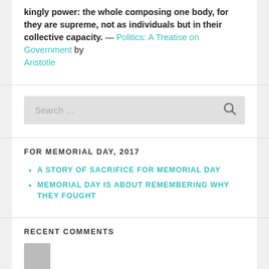kingly power: the whole composing one body, for they are supreme, not as individuals but in their collective capacity. — Politics: A Treatise on Government by Aristotle
[Figure (other): Search box with magnifying glass icon]
FOR MEMORIAL DAY, 2017
A STORY OF SACRIFICE FOR MEMORIAL DAY
MEMORIAL DAY IS ABOUT REMEMBERING WHY THEY FOUGHT
RECENT COMMENTS